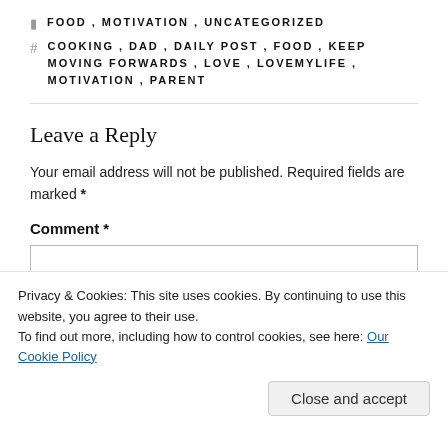FOOD, MOTIVATION, UNCATEGORIZED
COOKING, DAD, DAILY POST, FOOD, KEEP MOVING FORWARDS, LOVE, LOVEMYLIFE, MOTIVATION, PARENT
Leave a Reply
Your email address will not be published. Required fields are marked *
Comment *
Privacy & Cookies: This site uses cookies. By continuing to use this website, you agree to their use.
To find out more, including how to control cookies, see here: Our Cookie Policy